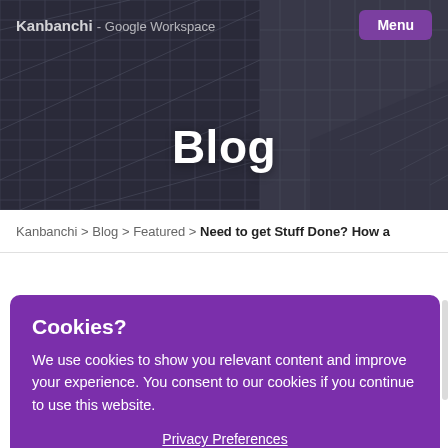Kanbanchi - Google Workspace | Menu
[Figure (photo): Dark architectural photo background with overlapping building facade grid patterns in dark blue-grey tones, used as hero background]
Blog
Kanbanchi > Blog > Featured > Need to get Stuff Done? How a
Cookies?
We use cookies to show you relevant content and improve your experience. You consent to our cookies if you continue to use this website.
Privacy Preferences